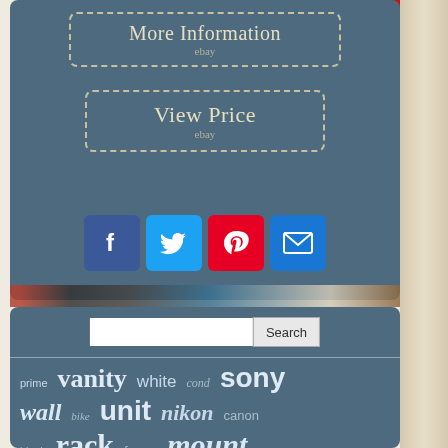[Figure (screenshot): More Information button with dashed border on blue background, ebay label below]
[Figure (screenshot): View Price button with dashed border on blue background, ebay label below]
[Figure (infographic): Social sharing icons row: Facebook (blue), Twitter (light blue), Pinterest (red), Email (blue)]
[Figure (screenshot): Search bar with input field and Search button]
prime vanity white cond sony wall bike unit nikon canon black rack frame mount